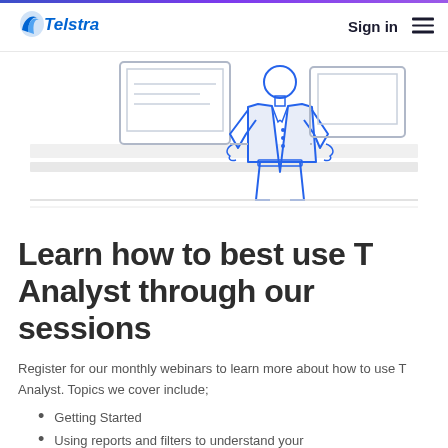Telstra — Sign in
[Figure (illustration): Line illustration of a person in a suit with a presentation board and computer interface elements, rendered in blue outlines with light grey/blue fill accents on a white background.]
Learn how to best use T Analyst through our sessions
Register for our monthly webinars to learn more about how to use T Analyst. Topics we cover include;
Getting Started
Using reports and filters to understand your